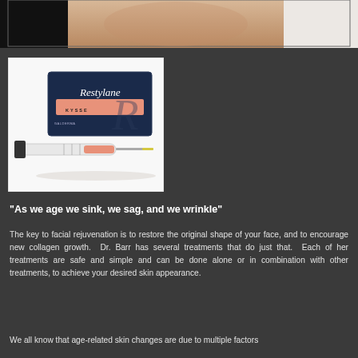[Figure (photo): Top banner image showing a person's neck/chest area with skin texture visible, partially obscured by black panels on left and right]
[Figure (photo): Product photo of Restylane Kysse filler box (navy blue box) with a syringe in front on a white background]
“As we age we sink, we sag, and we wrinkle”
The key to facial rejuvenation is to restore the original shape of your face, and to encourage new collagen growth.  Dr. Barr has several treatments that do just that.  Each of her treatments are safe and simple and can be done alone or in combination with other treatments, to achieve your desired skin appearance.
We all know that age-related skin changes are due to multiple factors